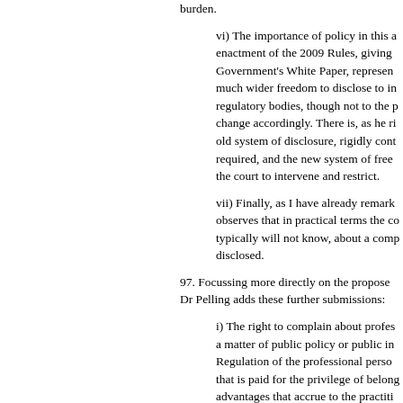burden.
vi) The importance of policy in this area is underlined by the enactment of the 2009 Rules, giving effect to the Government's White Paper, representing a deliberate grant of much wider freedom to disclose to insurers and other regulatory bodies, though not to the public, and the law must change accordingly. There is, as he rightly says, a tension between the old system of disclosure, rigidly controlled and restricted as required, and the new system of free disclosure, it is not for the court to intervene and restrict.
vii) Finally, as I have already remarked, the judge correctly observes that in practical terms the complainant typically will not know, about a complaint that has been disclosed.
97. Focussing more directly on the proposed order in this case, Dr Pelling adds these further submissions:
i) The right to complain about professional misconduct is a matter of public policy or public interest. Regulation of the professional person is the price that is paid for the privilege of belonging to a profession – advantages that accrue to the practitioner. The existence of legal proceedings being a reason to restrict is, if anything, a reason in favour of the right, for, otherwise they go unchecked: they can neither be exposed nor have complaints complained against to their professional body.